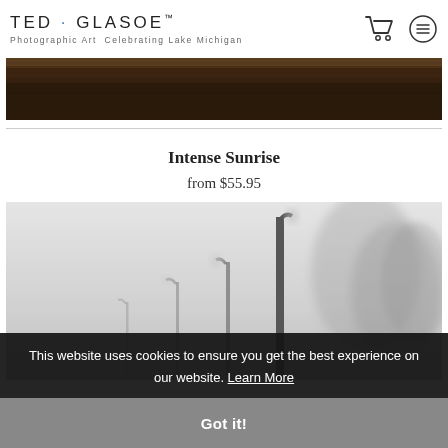TED · GLASOE™
Photographic Art Celebrating Lake Michigan
[Figure (photo): Dark textured photograph strip at top of page]
Intense Sunrise
from $55.95
[Figure (photo): Foggy black-and-white photograph showing lamp posts and trees in heavy fog]
This website uses cookies to ensure you get the best experience on our website. Learn More
Got it!